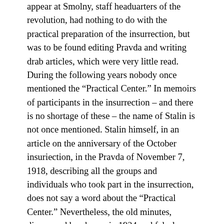appear at Smolny, staff headuarters of the revolution, had nothing to do with the practical preparation of the insurrection, but was to be found editing Pravda and writing drab articles, which were very little read. During the following years nobody once mentioned the “Practical Center.” In memoirs of participants in the insurrection – and there is no shortage of these – the name of Stalin is not once mentioned. Stalin himself, in an article on the anniversary of the October insuriection, in the Pravda of November 7, 1918, describing all the groups and individuals who took part in the insurrection, does not say a word about the “Practical Center.” Nevertheless, the old minutes, discovered by chance in 1924 and falsely interpreted, have served as a base for the bureaucratic legend. In every compilation, bibliographical guide, even in recently edited school books, the revolutionary “Center” has a prominent place with Stalin, at its head. Furthermore, no one has tried, not even out of